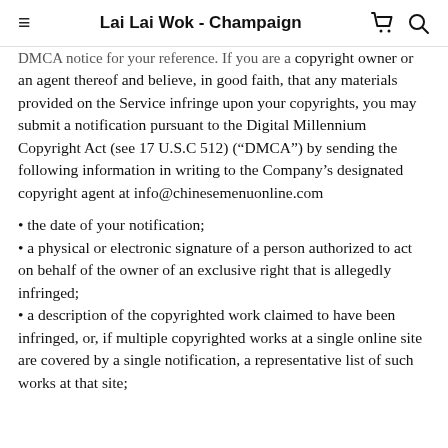Lai Lai Wok - Champaign
DMCA notice for your reference. If you are a copyright owner or an agent thereof and believe, in good faith, that any materials provided on the Service infringe upon your copyrights, you may submit a notification pursuant to the Digital Millennium Copyright Act (see 17 U.S.C 512) (“DMCA”) by sending the following information in writing to the Company’s designated copyright agent at info@chinesemenuonline.com
• the date of your notification;
• a physical or electronic signature of a person authorized to act on behalf of the owner of an exclusive right that is allegedly infringed;
• a description of the copyrighted work claimed to have been infringed, or, if multiple copyrighted works at a single online site are covered by a single notification, a representative list of such works at that site;